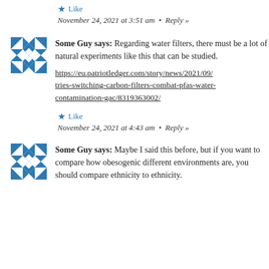★ Like
November 24, 2021 at 3:51 am  •  Reply »
Some Guy says: Regarding water filters, there must be a lot of natural experiments like this that can be studied.
https://eu.patriotledger.com/story/news/2021/09/tries-switching-carbon-filters-combat-pfas-water-contamination-gac/8319363002/
★ Like
November 24, 2021 at 4:43 am  •  Reply »
Some Guy says: Maybe I said this before, but if you want to compare how obesogenic different environments are, you should compare ethnicity to ethnicity.